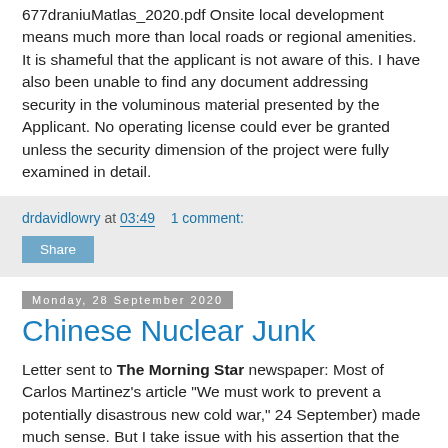677draniuMatlas_2020.pdf Onsite local development means much more than local roads or regional amenities. It is shameful that the applicant is not aware of this. I have also been unable to find any document addressing security in the voluminous material presented by the Applicant. No operating license could ever be granted unless the security dimension of the project were fully examined in detail.
drdavidlowry at 03:49    1 comment:
Share
Monday, 28 September 2020
Chinese Nuclear Junk
Letter sent to The Morning Star newspaper: Most of Carlos Martinez's article "We must work to prevent a potentially disastrous new cold war," 24 September) made much sense. But I take issue with his assertion that the rise of China poses "no threat whatsoever to ordinary people of the West." It does, in a particular way. China General Nuclear